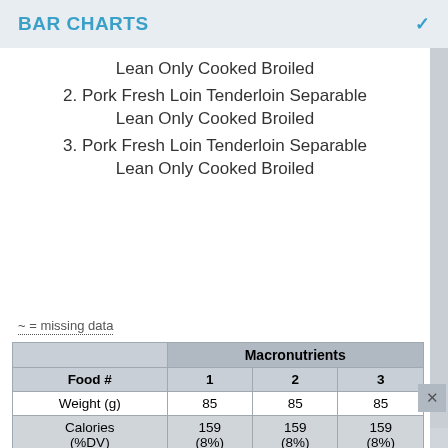BAR CHARTS
Lean Only Cooked Broiled
2. Pork Fresh Loin Tenderloin Separable Lean Only Cooked Broiled
3. Pork Fresh Loin Tenderloin Separable Lean Only Cooked Broiled
~ = missing data
| Food # | Macronutrients 1 | Macronutrients 2 | Macronutrients 3 |
| --- | --- | --- | --- |
| Weight (g) | 85 | 85 | 85 |
| Calories (%DV) | 159 (8%) | 159 (8%) | 159 (8%) |
| Fat (g) (%DV) | 5.4 (7%) | 5.4 (7%) | 5.4 (7%) |
| Protein (g) | 25.0 | 25.0 | 25.0 |